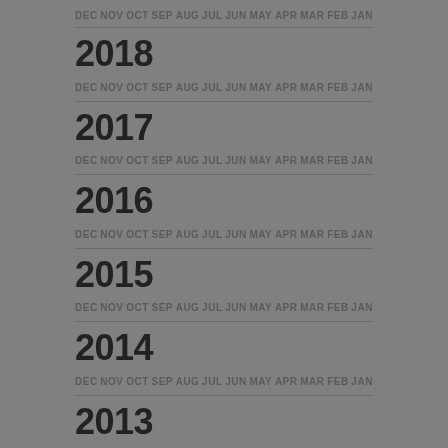DEC NOV OCT SEP AUG JUL JUN MAY APR MAR FEB JAN
2018
DEC NOV OCT SEP AUG JUL JUN MAY APR MAR FEB JAN
2017
DEC NOV OCT SEP AUG JUL JUN MAY APR MAR FEB JAN
2016
DEC NOV OCT SEP AUG JUL JUN MAY APR MAR FEB JAN
2015
DEC NOV OCT SEP AUG JUL JUN MAY APR MAR FEB JAN
2014
DEC NOV OCT SEP AUG JUL JUN MAY APR MAR FEB JAN
2013